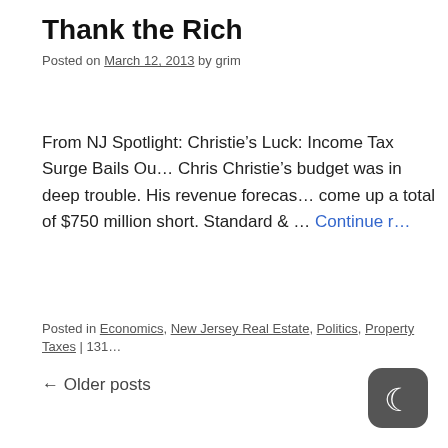Thank the Rich
Posted on March 12, 2013 by grim
From NJ Spotlight: Christie’s Luck: Income Tax Surge Bails Ou… Chris Christie’s budget was in deep trouble. His revenue forecas… come up a total of $750 million short. Standard & … Continue r…
Posted in Economics, New Jersey Real Estate, Politics, Property Taxes | 131…
← Older posts
[Figure (logo): Dark mode toggle icon — dark rounded square with crescent moon symbol]